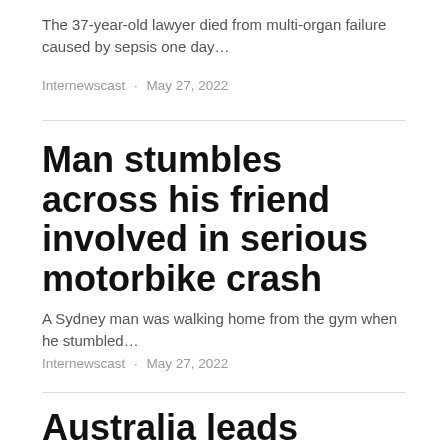The 37-year-old lawyer died from multi-organ failure caused by sepsis one day…
Internewscast · May 27, 2022
Man stumbles across his friend involved in serious motorbike crash
A Sydney man was walking home from the gym when he stumbled…
Internewscast · May 27, 2022
Australia leads world-first DNA screening for cancer risk and heart disease risk